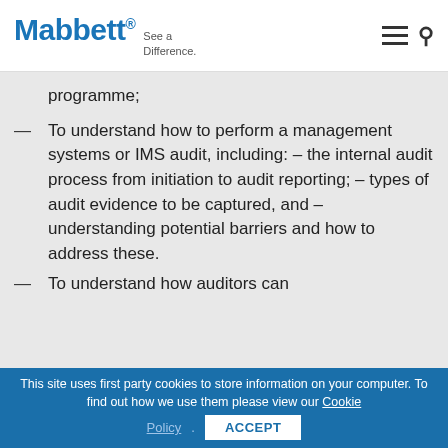Mabbett® See a Difference.
programme;
To understand how to perform a management systems or IMS audit, including: – the internal audit process from initiation to audit reporting; – types of audit evidence to be captured, and – understanding potential barriers and how to address these.
To understand how auditors can
This site uses first party cookies to store information on your computer. To find out how we use them please view our Cookie Policy.
ACCEPT